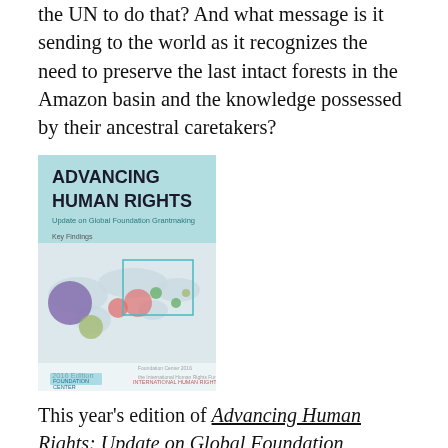the UN to do that? And what message is it sending to the world as it recognizes the need to preserve the last intact forests in the Amazon basin and the knowledge possessed by their ancestral caretakers?
[Figure (photo): Book cover of 'Advancing Human Rights: Update on Global Foundation Grantmaking, 2016 Edition' showing a world map with colored circles indicating grant distribution, published by Foundation Center and the International Human Rights Funders Group.]
This year's edition of Advancing Human Rights: Update on Global Foundation Grantmaking offers an interesting in-depth look at the practices of found...